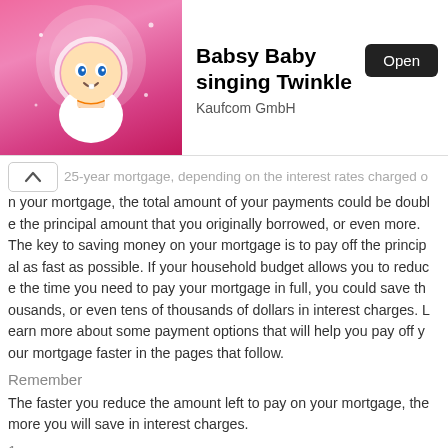[Figure (screenshot): App store ad banner showing Babsy Baby singing Twinkle by Kaufcom GmbH with an Open button and a cartoon baby image on a pink background]
25-year mortgage, depending on the interest rates charged on your mortgage, the total amount of your payments could be double the principal amount that you originally borrowed, or even more. The key to saving money on your mortgage is to pay off the principal as fast as possible. If your household budget allows you to reduce the time you need to pay your mortgage in full, you could save thousands, or even tens of thousands of dollars in interest charges. Learn more about some payment options that will help you pay off your mortgage faster in the pages that follow.
Remember
The faster you reduce the amount left to pay on your mortgage, the more you will save in interest charges.
1
Ways to pay off your mortgage faster